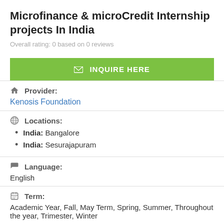Microfinance & microCredit Internship projects In India
Overall rating: 0 based on 0 reviews
✉ INQUIRE HERE
🏠 Provider:
Kenosis Foundation
🌐 Locations:
India: Bangalore
India: Sesurajapuram
💬 Language:
English
📅 Term:
Academic Year, Fall, May Term, Spring, Summer, Throughout the year, Trimester, Winter
⏱ Duration: